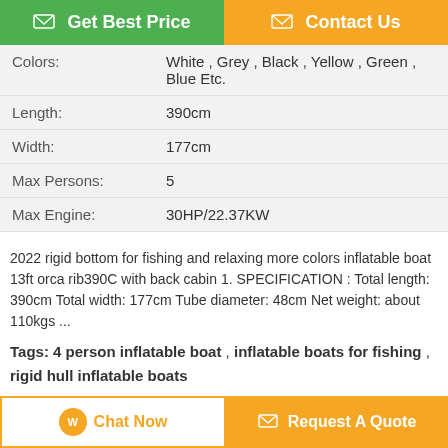[Figure (other): Two buttons: green 'Get Best Price' and orange 'Contact Us']
| Colors: | White , Grey , Black , Yellow , Green , Blue Etc. |
| Length: | 390cm |
| Width: | 177cm |
| Max Persons: | 5 |
| Max Engine: | 30HP/22.37KW |
2022 rigid bottom for fishing and relaxing more colors inflatable boat 13ft orca rib390C with back cabin 1. SPECIFICATION : Total length: 390cm Total width: 177cm Tube diameter: 48cm Net weight: about 110kgs ...
Tags: 4 person inflatable boat , inflatable boats for fishing , rigid hull inflatable boats
Product Description >
Get the Best Price for
2022 rigid bottom for fishing and
[Figure (other): Two bottom buttons: white/orange 'Chat Now' and orange 'Request A Quote']